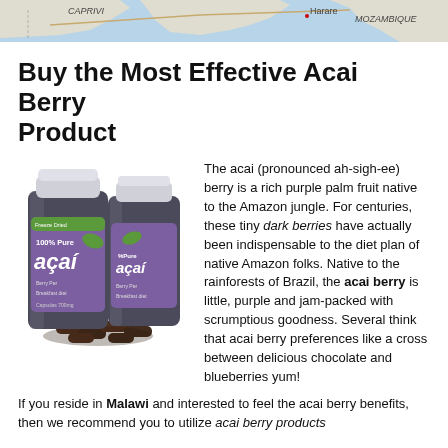[Figure (map): Partial map showing region with labels including CAPRIVI, Harare, and MOZAMBIQUE]
Buy the Most Effective Acai Berry Product
[Figure (photo): Two bottles of 100% Pure Acai supplement with dark capsules/berries in front]
The acai (pronounced ah-sigh-ee) berry is a rich purple palm fruit native to the Amazon jungle. For centuries, these tiny dark berries have actually been indispensable to the diet plan of native Amazon folks. Native to the rainforests of Brazil, the acai berry is little, purple and jam-packed with scrumptious goodness. Several think that acai berry preferences like a cross between delicious chocolate and blueberries yum!
If you reside in Malawi and interested to feel the acai berry benefits, then we recommend you to utilize acai berry products